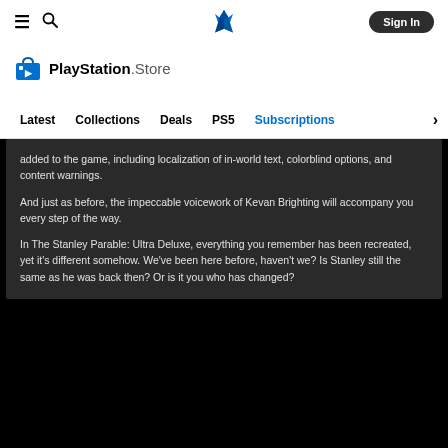PlayStation Store navigation bar with hamburger menu, search icon, PlayStation logo, and Sign In button
[Figure (logo): PlayStation Store logo with shopping bag icon and text 'PlayStation.Store']
Navigation menu: Latest | Collections | Deals | PS5 | Subscriptions >
added to the game, including localization of in-world text, colorblind options, and content warnings.

And just as before, the impeccable voicework of Kevan Brighting will accompany you every step of the way.

In The Stanley Parable: Ultra Deluxe, everything you remember has been recreated, yet it's different somehow. We've been here before, haven't we? Is Stanley still the same as he was back then? Or is it you who has changed?